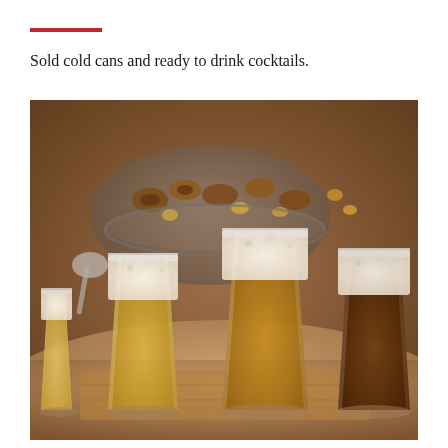Sold cold cans and ready to drink cocktails.
[Figure (photo): Four glasses of different beers (ranging from light lager to dark stout) on a wooden board, with a bowl of pretzels and mixed nuts in the background on a wooden table.]